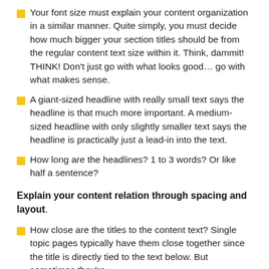Your font size must explain your content organization in a similar manner. Quite simply, you must decide how much bigger your section titles should be from the regular content text size within it. Think, dammit! THINK! Don’t just go with what looks good… go with what makes sense.
A giant-sized headline with really small text says the headline is that much more important. A medium-sized headline with only slightly smaller text says the headline is practically just a lead-in into the text.
How long are the headlines? 1 to 3 words? Or like half a sentence?
Explain your content relation through spacing and layout.
How close are the titles to the content text? Single topic pages typically have them close together since the title is directly tied to the text below. But sometimes they’re